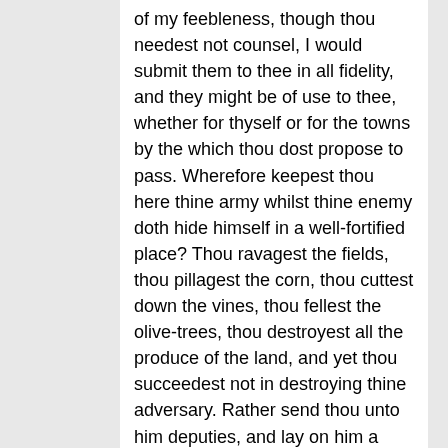of my feebleness, though thou needest not counsel, I would submit them to thee in all fidelity, and they might be of use to thee, whether for thyself or for the towns by the which thou dost propose to pass. Wherefore keepest thou here thine army whilst thine enemy doth hide himself in a well-fortified place? Thou ravagest the fields, thou pillagest the corn, thou cuttest down the vines, thou fellest the olive-trees, thou destroyest all the produce of the land, and yet thou succeedest not in destroying thine adversary. Rather send thou unto him deputies, and lay on him a tribute to be paid to thee every year. Thus the land will be preserved, and thou wilt be lord forever over him who owes thee tribute. If he refuse, thou shalt then do